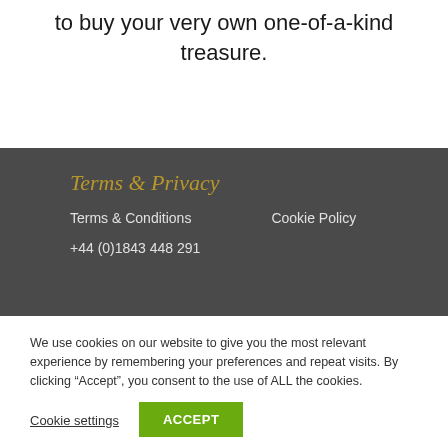to buy your very own one-of-a-kind treasure.
Terms & Privacy
Terms & Conditions
Cookie Policy
+44 (0)1843 448 291
We use cookies on our website to give you the most relevant experience by remembering your preferences and repeat visits. By clicking “Accept”, you consent to the use of ALL the cookies.
Cookie settings
ACCEPT